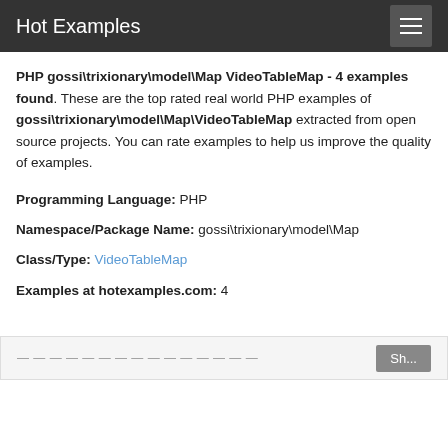Hot Examples
PHP gossi\trixionary\model\Map VideoTableMap - 4 examples found. These are the top rated real world PHP examples of gossi\trixionary\model\Map\VideoTableMap extracted from open source projects. You can rate examples to help us improve the quality of examples.
Programming Language: PHP
Namespace/Package Name: gossi\trixionary\model\Map
Class/Type: VideoTableMap
Examples at hotexamples.com: 4